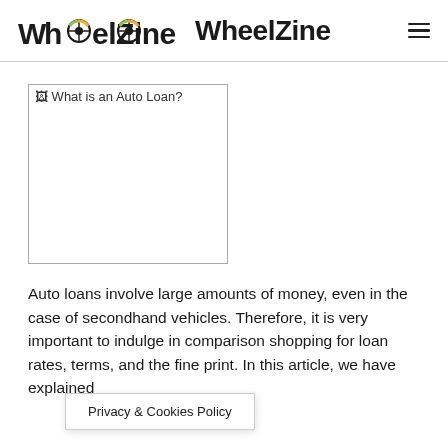WheelZine
[Figure (other): Broken image placeholder labeled 'What is an Auto Loan?']
Auto loans involve large amounts of money, even in the case of secondhand vehicles. Therefore, it is very important to indulge in comparison shopping for loan rates, terms, and the fine print. In this article, we have explained [something] about it.
Privacy & Cookies Policy